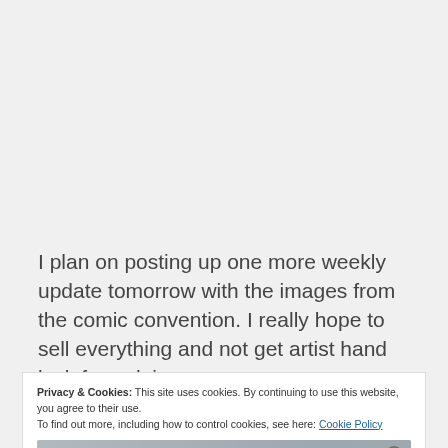I plan on posting up one more weekly update tomorrow with the images from the comic convention. I really hope to sell everything and not get artist hand lock from doing
Privacy & Cookies: This site uses cookies. By continuing to use this website, you agree to their use.
To find out more, including how to control cookies, see here: Cookie Policy
[Figure (screenshot): Embedded video player overlay showing 'No compatible source was found for this media.' with Gossipfunda watermark and an X close button]